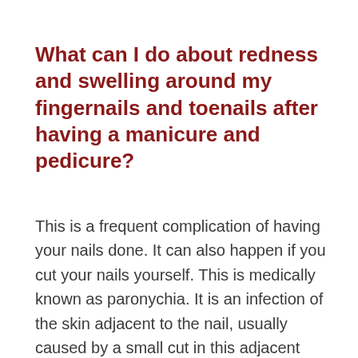What can I do about redness and swelling around my fingernails and toenails after having a manicure and pedicure?
This is a frequent complication of having your nails done. It can also happen if you cut your nails yourself. This is medically known as paronychia. It is an infection of the skin adjacent to the nail, usually caused by a small cut in this adjacent skin. This results in bacteria, fungus and/or yeast entering the skin, causing an infection, resulting in pain, tenderness, redness, and swelling. It is